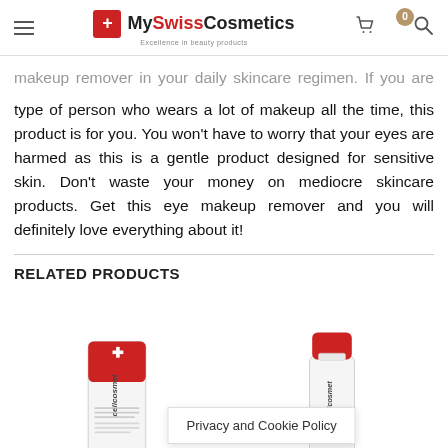MySwissCosmetics — Excellence in beauty products
makeup remover in your daily skincare regimen. If you are the type of person who wears a lot of makeup all the time, this product is for you. You won't have to worry that your eyes are harmed as this is a gentle product designed for sensitive skin. Don't waste your money on mediocre skincare products. Get this eye makeup remover and you will definitely love everything about it!
RELATED PRODUCTS
[Figure (photo): Cellcosmet skincare tube product with red and white packaging]
[Figure (photo): Cellcosmet skincare bottle product with red cap and white bottle]
Privacy and Cookie Policy